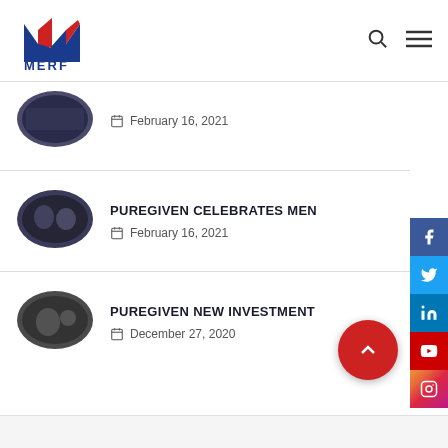[Figure (logo): MERF logo with blue and red M shape above the text MERF]
February 16, 2021
PUREGIVEN CELEBRATES MEN
February 16, 2021
PUREGIVEN NEW INVESTMENT
December 27, 2020